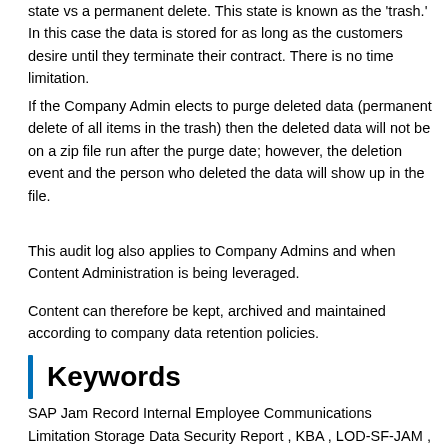state vs a permanent delete. This state is known as the 'trash.' In this case the data is stored for as long as the customers desire until they terminate their contract. There is no time limitation.
If the Company Admin elects to purge deleted data (permanent delete of all items in the trash) then the deleted data will not be on a zip file run after the purge date; however, the deletion event and the person who deleted the data will show up in the file.
This audit log also applies to Company Admins and when Content Administration is being leveraged.
Content can therefore be kept, archived and maintained according to company data retention policies.
Keywords
SAP Jam Record Internal Employee Communications Limitation Storage Data Security Report , KBA , LOD-SF-JAM , SAP Jam , How To